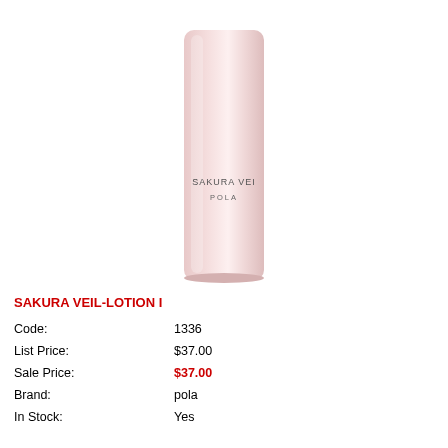[Figure (photo): A pink/rose-colored cylindrical lotion bottle (SAKURA VEIL by POLA) against a white background. The bottle has text reading 'SAKURA VEIL' and 'POLA' on it.]
SAKURA VEIL-LOTION I
| Code: | 1336 |
| List Price: | $37.00 |
| Sale Price: | $37.00 |
| Brand: | pola |
| In Stock: | Yes |